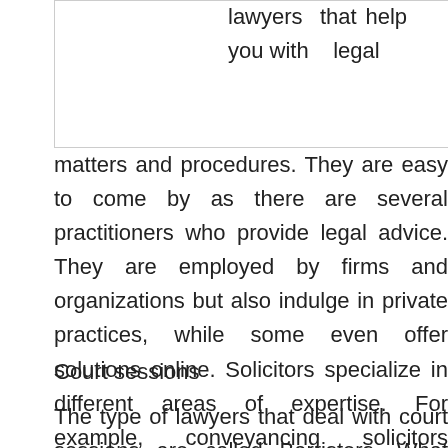[Figure (other): White rectangular box/image placeholder in upper left area of the page]
lawyers that help you with legal matters and procedures. They are easy to come by as there are several practitioners who provide legal advice. They are employed by firms and organizations but also indulge in private practices, while some even offer solutions online. Solicitors specialize in different areas of expertise. For example, conveyancing solicitors Palmerston would offer you legal help when it comes to real estate related matters.
Court sessions
The type of lawyers that deal with court sessions are called Barristers. What these types of lawyers